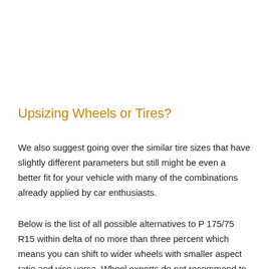Upsizing Wheels or Tires?
We also suggest going over the similar tire sizes that have slightly different parameters but still might be even a better fit for your vehicle with many of the combinations already applied by car enthusiasts.
Below is the list of all possible alternatives to P 175/75 R15 within delta of no more than three percent which means you can shift to wider wheels with smaller aspect ratio and vice versa. Wheel experts do not recommend to decrease